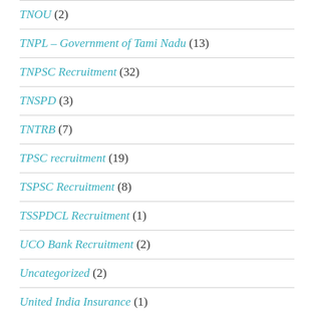TNOU (2)
TNPL – Government of Tami Nadu (13)
TNPSC Recruitment (32)
TNSPD (3)
TNTRB (7)
TPSC recruitment (19)
TSPSC Recruitment (8)
TSSPDCL Recruitment (1)
UCO Bank Recruitment (2)
Uncategorized (2)
United India Insurance (1)
University of Hyderabad Recruitment (2)
UPPCL Recruitment (2)